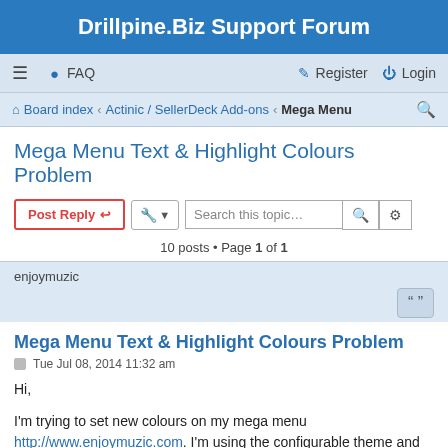Drillpine.Biz Support Forum
≡  FAQ    Register  Login
Board index · Actinic / SellerDeck Add-ons · Mega Menu
Mega Menu Text & Highlight Colours Problem
Post Reply  [tools]  Search this topic...
10 posts • Page 1 of 1
enjoymuzic
Mega Menu Text & Highlight Colours Problem
Tue Jul 08, 2014 11:32 am
Hi,

I'm trying to set new colours on my mega menu http://www.enjoymuzic.com. I'm using the configurable theme and have set up as follows...

MenuTopBarColour #5100A2
MenuTopBarHoverColour white